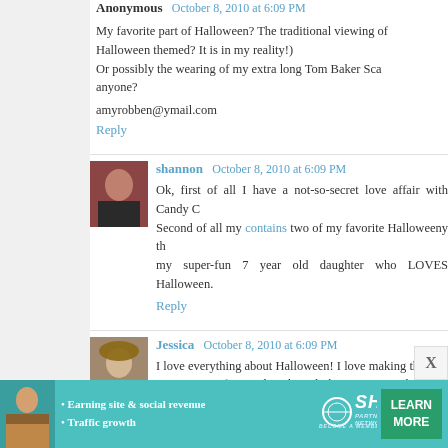Anonymous October 8, 2010 at 6:09 PM
My favorite part of Halloween? The traditional viewing of Halloween themed? It is in my reality!) Or possibly the wearing of my extra long Tom Baker Sca anyone?
amyrobben@ymail.com
Reply
shannon October 8, 2010 at 6:09 PM
Ok, first of all I have a not-so-secret love affair with Candy C Second of all my contains two of my favorite Halloweeny th my super-fun 7 year old daughter who LOVES Halloween.
Reply
Jessica October 8, 2010 at 6:09 PM
I love everything about Halloween! I love making the cos carving pumpkins. I don't have links to any pumpkins I've do
Reply
[Figure (infographic): SHE Partner Network advertisement banner with teal background, woman photo, bullet points about earning site revenue and traffic growth, SHE logo, and LEARN MORE button]